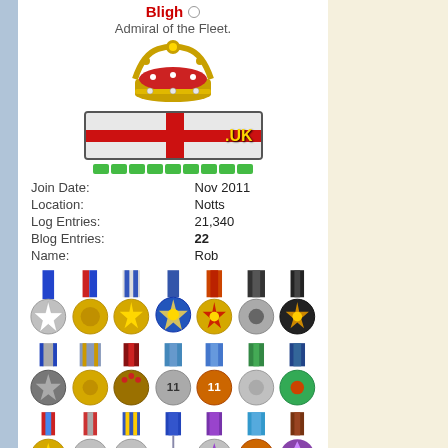[Figure (photo): Dark portrait photo at top of profile]
Bligh
Admiral of the Fleet.
[Figure (illustration): Crown icon for Admiral of the Fleet rank]
[Figure (illustration): UK flag badge with green pips below]
| Join Date: | Nov 2011 |
| Location: | Notts |
| Log Entries: | 21,340 |
| Blog Entries: | 22 |
| Name: | Rob |
[Figure (illustration): Collection of military medals arranged in rows]